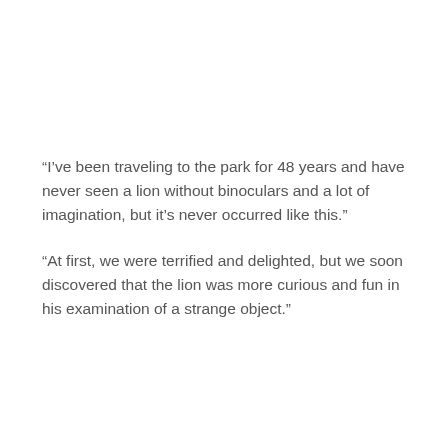“I’ve been traveling to the park for 48 years and have never seen a lion without binoculars and a lot of imagination, but it’s never occurred like this.”
“At first, we were terrified and delighted, but we soon discovered that the lion was more curious and fun in his examination of a strange object.”